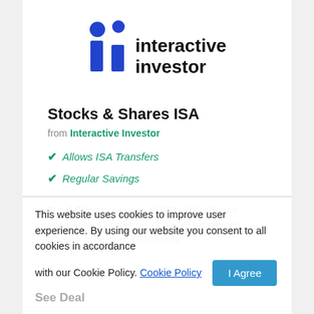[Figure (logo): Interactive Investor logo: two blue circles and two blue rectangles forming stylized 'ii', with text 'interactive investor' in black sans-serif]
Stocks & Shares ISA
from Interactive Investor
Allows ISA Transfers
Regular Savings
Fund Choice: Access 40,000+ UK, US and international shares on 17 global exchanges. Choose from over 3,000 funds.
This website uses cookies to improve user experience. By using our website you consent to all cookies in accordance with our Cookie Policy. Cookie Policy  I Agree